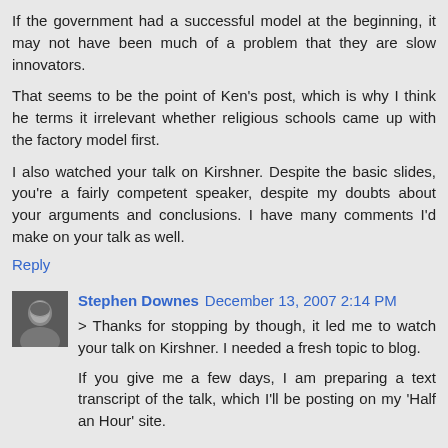If the government had a successful model at the beginning, it may not have been much of a problem that they are slow innovators.
That seems to be the point of Ken's post, which is why I think he terms it irrelevant whether religious schools came up with the factory model first.
I also watched your talk on Kirshner. Despite the basic slides, you're a fairly competent speaker, despite my doubts about your arguments and conclusions. I have many comments I'd make on your talk as well.
Reply
Stephen Downes  December 13, 2007 2:14 PM
> Thanks for stopping by though, it led me to watch your talk on Kirshner. I needed a fresh topic to blog.
If you give me a few days, I am preparing a text transcript of the talk, which I'll be posting on my 'Half an Hour' site.